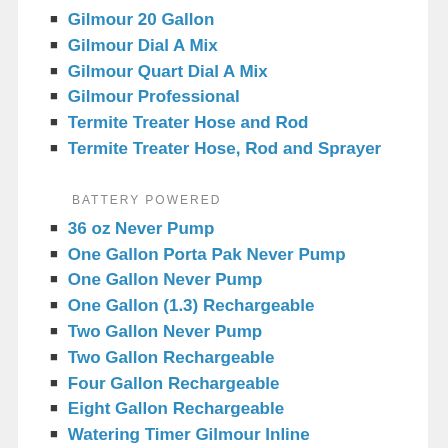Gilmour 20 Gallon
Gilmour Dial A Mix
Gilmour Quart Dial A Mix
Gilmour Professional
Termite Treater Hose and Rod
Termite Treater Hose, Rod and Sprayer
BATTERY POWERED
36 oz Never Pump
One Gallon Porta Pak Never Pump
One Gallon Never Pump
One Gallon (1.3) Rechargeable
Two Gallon Never Pump
Two Gallon Rechargeable
Four Gallon Rechargeable
Eight Gallon Rechargeable
Watering Timer Gilmour Inline
ELECTRIC SPRAYERS
Fifteen Gallon Electric
Twenty-Five Gallon Electric